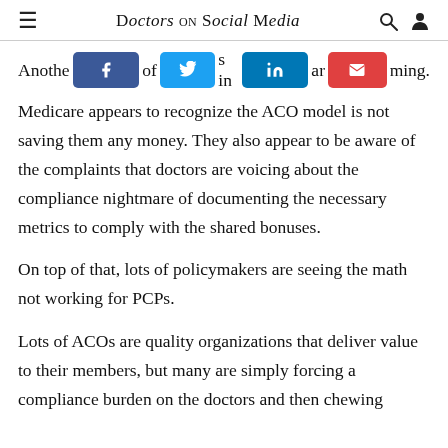Doctors on Social Media
Another [share buttons] of [share buttons] is in [share buttons] ar [share buttons] ming.
Medicare appears to recognize the ACO model is not saving them any money. They also appear to be aware of the complaints that doctors are voicing about the compliance nightmare of documenting the necessary metrics to comply with the shared bonuses.
On top of that, lots of policymakers are seeing the math not working for PCPs.
Lots of ACOs are quality organizations that deliver value to their members, but many are simply forcing a compliance burden on the doctors and then chewing